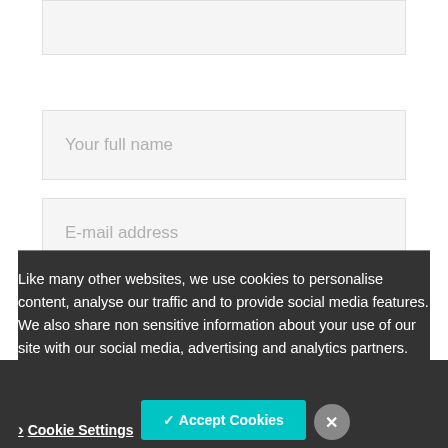[Figure (screenshot): Partial top input box (cropped at top of page), light grey background form field]
[Figure (screenshot): Form input field with placeholder text 'Your full name']
[Figure (screenshot): Form input field with placeholder text 'E-mail address']
[Figure (screenshot): Form input field with placeholder text 'Website']
Like many other websites, we use cookies to personalise content, analyse our traffic and to provide social media features. We also share non sensitive information about your use of our site with our social media, advertising and analytics partners.
> Cookie Settings
✓ Accept Cookies
×